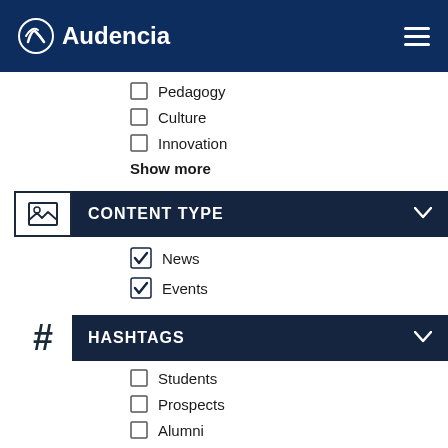Audencia
Pedagogy
Culture
Innovation
Show more
CONTENT TYPE
News (checked)
Events (checked)
HASHTAGS
Students
Prospects
Alumni